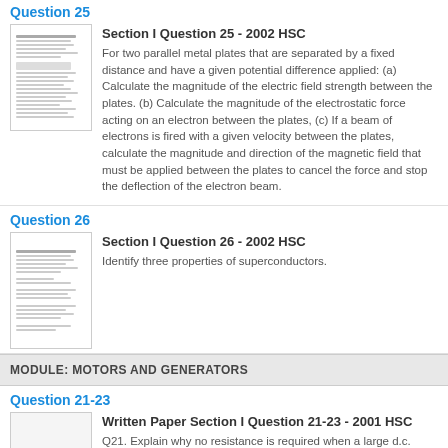Question 25
Section I Question 25 - 2002 HSC
For two parallel metal plates that are separated by a fixed distance and have a given potential difference applied: (a) Calculate the magnitude of the electric field strength between the plates. (b) Calculate the magnitude of the electrostatic force acting on an electron between the plates, (c) If a beam of electrons is fired with a given velocity between the plates, calculate the magnitude and direction of the magnetic field that must be applied between the plates to cancel the force and stop the deflection of the electron beam.
Question 26
Section I Question 26 - 2002 HSC
Identify three properties of superconductors.
MODULE: MOTORS AND GENERATORS
Question 21-23
Written Paper Section I Question 21-23 - 2001 HSC
Q21. Explain why no resistance is required when a large d.c. motor is running at high speed, but a substantial resistance is needed when the motor is starting up. Q22. Identify the direction of the force that exists between two parallel wires, each with a current flowing in the same direction along the wires. On a set of axes, sketch a graph that shows how the force between the two wires varies with